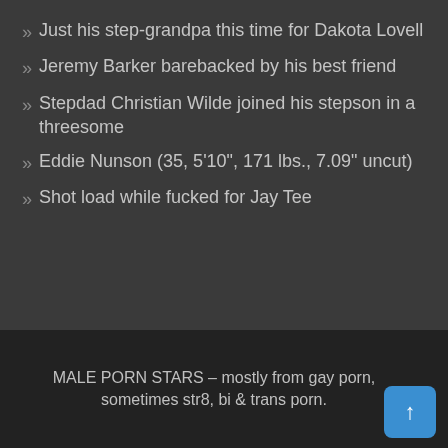Just his step-grandpa this time for Dakota Lovell
Jeremy Barker barebacked by his best friend
Stepdad Christian Wilde joined his stepson in a threesome
Eddie Nunson (35, 5'10", 171 lbs., 7.09" uncut)
Shot load while fucked for Jay Tee
MALE PORN STARS – mostly from gay porn, sometimes str8, bi & trans porn.